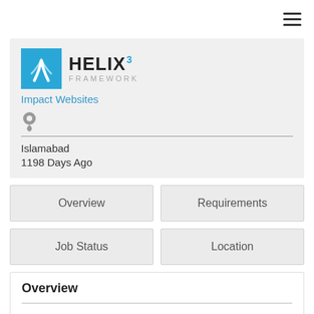[Figure (logo): Helix 3 Framework logo with blue square icon and text 'HELIX3 FRAMEWORK']
Impact Websites
[Figure (other): Location/map pin icon]
Islamabad
1198 Days Ago
Overview
Requirements
Job Status
Location
Overview
Department: